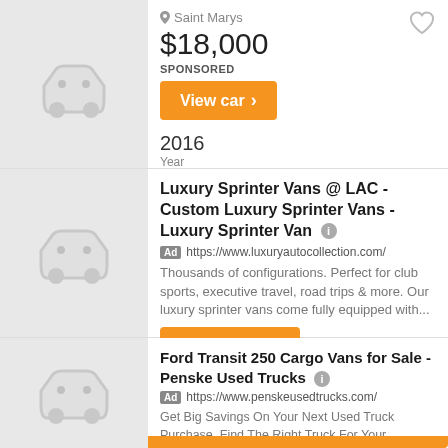Saint Marys
$18,000
SPONSORED
View car ❯
2016
Year
Luxury Sprinter Vans @ LAC - Custom Luxury Sprinter Vans - Luxury Sprinter Van
Ad https://www.luxuryautocollection.com/
Thousands of configurations. Perfect for club sports, executive travel, road trips & more. Our luxury sprinter vans come fully equipped with...
Visit Website ❯
Ford Transit 250 Cargo Vans for Sale - Penske Used Trucks
Ad https://www.penskeusedtrucks.com/
Get Big Savings On Your Next Used Truck Purchase. Find The Right Truck For Your Business. With Over 5,000 Well-Maintained,...